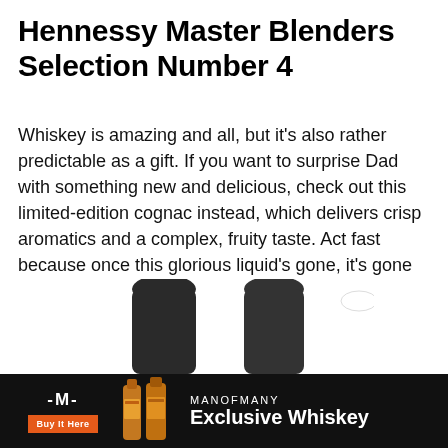Hennessy Master Blenders Selection Number 4
Whiskey is amazing and all, but it’s also rather predictable as a gift. If you want to surprise Dad with something new and delicious, check out this limited-edition cognac instead, which delivers crisp aromatics and a complex, fruity taste. Act fast because once this glorious liquid’s gone, it’s gone for good.
Buy it here
[Figure (infographic): Man of Many advertisement bar with logo, orange Buy It Here button, cognac bottle images, and text reading MANOFMANY Exclusive Whiskey on black background]